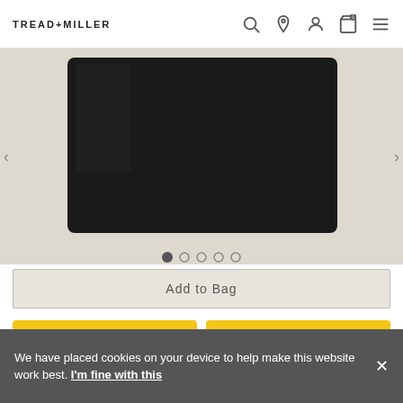TREAD+MILLER
[Figure (photo): Black leather tote/shoulder bag photographed on a light beige background, shown from a side angle revealing the bag body and shoulder strap.]
Add to Bag
[Figure (logo): PayPal logo button (yellow background) and Pay Later button (yellow background with PayPal P icon)]
We have placed cookies on your device to help make this website work best. I'm fine with this